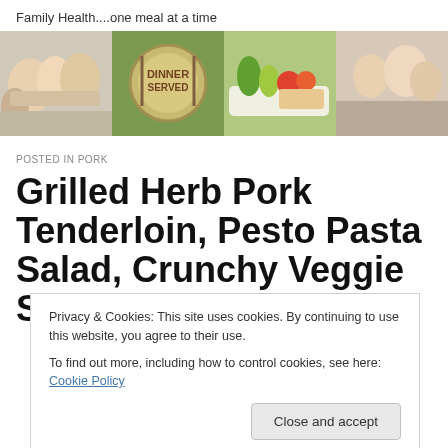Family Health....one meal at a time
[Figure (photo): Banner with four photos: a family eating together, a 'Dinner Served' logo, fresh vegetables on a tray, and a family dining scene]
POSTED IN PORK
Grilled Herb Pork Tenderloin, Pesto Pasta Salad, Crunchy Veggie Salad
Privacy & Cookies: This site uses cookies. By continuing to use this website, you agree to their use.
To find out more, including how to control cookies, see here: Cookie Policy
Close and accept